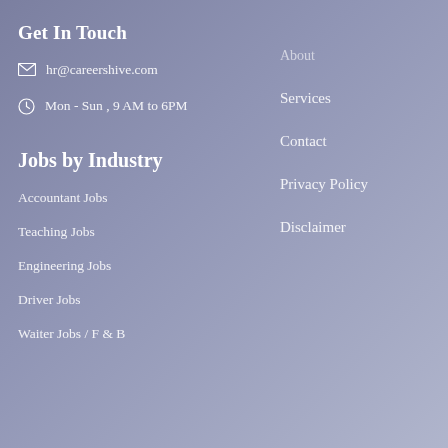Get In Touch
hr@careershive.com
Mon - Sun , 9 AM to 6PM
Services
Contact
Privacy Policy
Disclaimer
Jobs by Industry
Accountant Jobs
Teaching Jobs
Engineering Jobs
Driver Jobs
Waiter Jobs / F & B